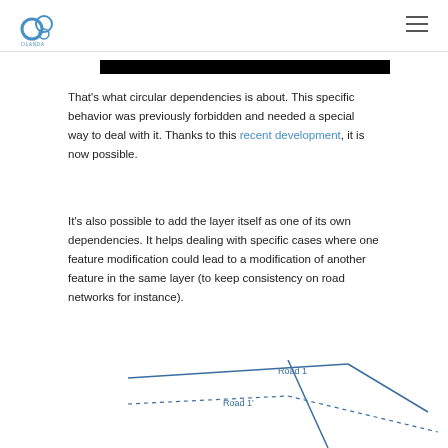OLANDA logo and navigation menu
[Figure (other): Black redaction bar]
That’s what circular dependencies is about. This specific behavior was previously forbidden and needed a special way to deal with it. Thanks to this recent development, it is now possible.
It’s also possible to add the layer itself as one of its own dependencies. It helps dealing with specific cases where one feature modification could lead to a modification of another feature in the same layer (to keep consistency on road networks for instance).
[Figure (illustration): Diagram showing road network lines labeled 'Road 1' and 'Road 1'' with solid and dashed blue lines intersecting]